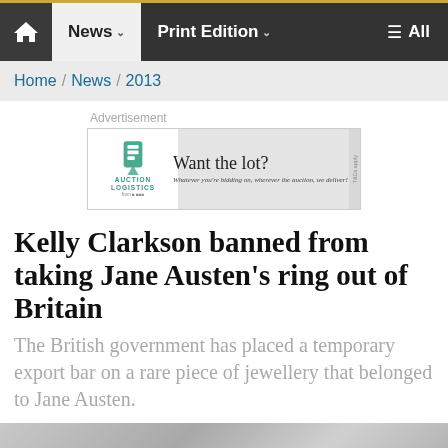🏠  News ∨  Print Edition ∨  ≡ All
Home / News / 2013
Advertisement
[Figure (other): Auction Logistics advertisement banner: 'Want the lot? Whatever you're bidding on, wherever the auction, we deliver!']
Kelly Clarkson banned from taking Jane Austen's ring out of Britain
The British government has placed a temporary export bar on a rare piece of jewellery that belonged to Jane Austen.
[Figure (photo): Partial photograph visible at bottom of page, appears to show handwriting or close-up detail.]